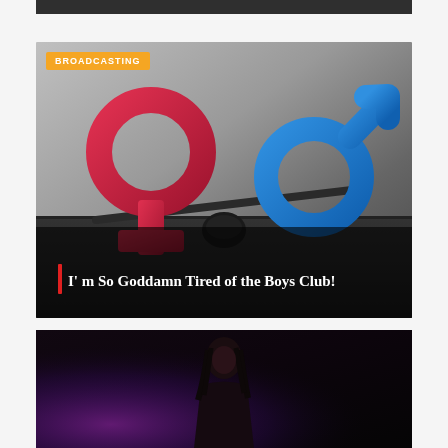[Figure (photo): Top cropped image strip, partially visible dark background photo]
[Figure (photo): Gender balance image showing red female symbol on left side of a tilted balance and blue male symbol on right, raised side, with black fulcrum in center. Yellow 'BROADCASTING' badge in top-left corner. Title overlay at bottom: 'I'm So Goddamn Tired of the Boys Club!']
BROADCASTING
I'm So Goddamn Tired of the Boys Club!
[Figure (photo): Dark concert photo showing a performer/singer on stage with purple-pink stage lighting from the left side, dark background]